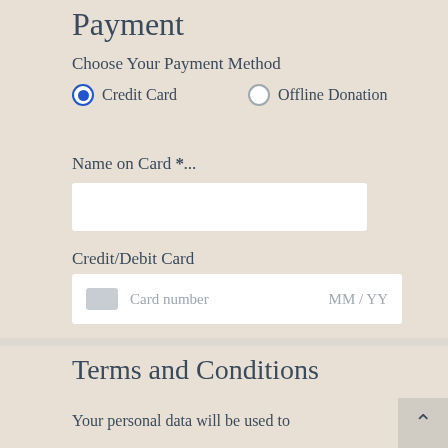Payment
Choose Your Payment Method
Credit Card (selected)
Offline Donation
Name on Card *...
Credit/Debit Card
Card number   MM / YY
Terms and Conditions
Your personal data will be used to